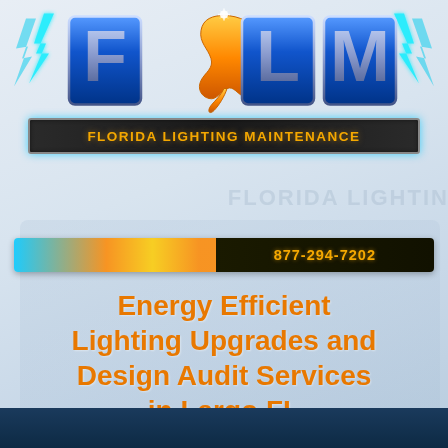[Figure (logo): FLM Florida Lighting Maintenance logo with large stylized FLM letters in blue/silver with Florida state outline in orange, lightning bolt effects, and 'FLORIDA LIGHTING MAINTENANCE' text bar below]
877-294-7202
Energy Efficient Lighting Upgrades and Design Audit Services in Largo FL